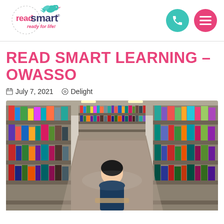[Figure (logo): Read Smart logo with bird and tagline 'ready for life!']
READ SMART LEARNING – OWASSO
July 7, 2021  Delight
[Figure (photo): Child reading in a bookstore aisle surrounded by bookshelves filled with colorful books]